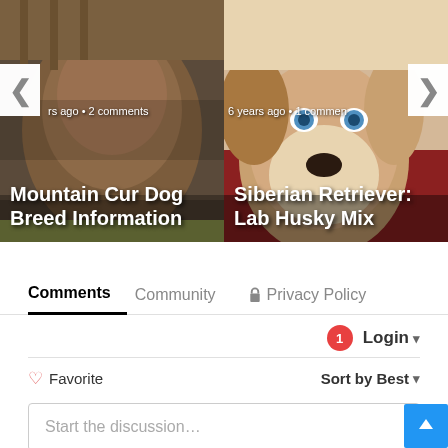[Figure (photo): Carousel showing two dog breed article cards. Left card: Mountain Cur Dog Breed Information with a brindle/brown dog photo, showing 'rs ago • 2 comments'. Right card: Siberian Retriever: Lab Husky Mix with a brown and white dog photo, showing '6 years ago • 1 comment'. Navigation arrows on both outer edges.]
Comments
Community
Privacy Policy
Login ▾
♡ Favorite
Sort by Best ▾
Start the discussion…
LOG IN WITH